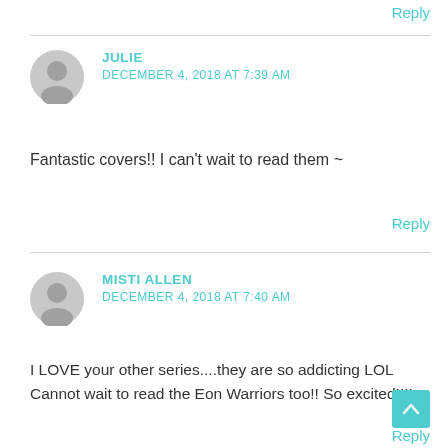Reply
JULIE
DECEMBER 4, 2018 AT 7:39 AM
Fantastic covers!! I can't wait to read them ~
Reply
MISTI ALLEN
DECEMBER 4, 2018 AT 7:40 AM
I LOVE your other series....they are so addicting LOL Cannot wait to read the Eon Warriors too!! So excited!!!!
Reply